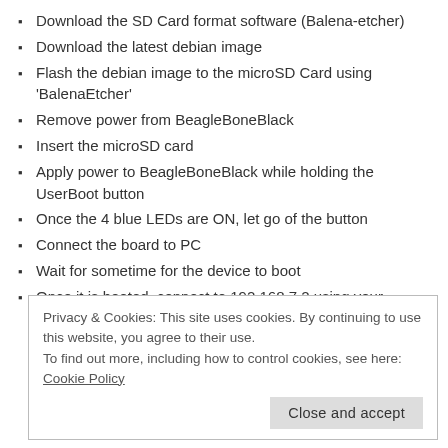Download the SD Card format software (Balena-etcher)
Download the latest debian image
Flash the debian image to the microSD Card using 'BalenaEtcher'
Remove power from BeagleBoneBlack
Insert the microSD card
Apply power to BeagleBoneBlack while holding the UserBoot button
Once the 4 blue LEDs are ON, let go of the button
Connect the board to PC
Wait for sometime for the device to boot
Once it is booted, connect to 192.168.7.2 using your favorite SSH client
Privacy & Cookies: This site uses cookies. By continuing to use this website, you agree to their use. To find out more, including how to control cookies, see here: Cookie Policy